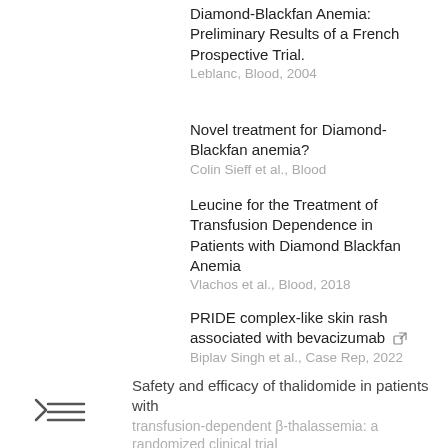Diamond-Blackfan Anemia: Preliminary Results of a French Prospective Trial.
Leblanc, Blood, 2004
Novel treatment for Diamond-Blackfan anemia?
Colin Sieff et al., Blood
Leucine for the Treatment of Transfusion Dependence in Patients with Diamond Blackfan Anemia
Vlachos et al., Blood, 2018
PRIDE complex-like skin rash associated with bevacizumab [external link]
Biplav Singh et al., Case Rep, 2022
TNF-α inhibitors used as steroid-sparing maintenance monotherapy in parenchymal CNS sarcoidosis [external link]
Frédéric Hilezian et al., J Neurol Neurosurg Psychiatry, 2021
Safety and efficacy of thalidomide in patients with transfusion-dependent β-thalassemia: a randomized clinical trial